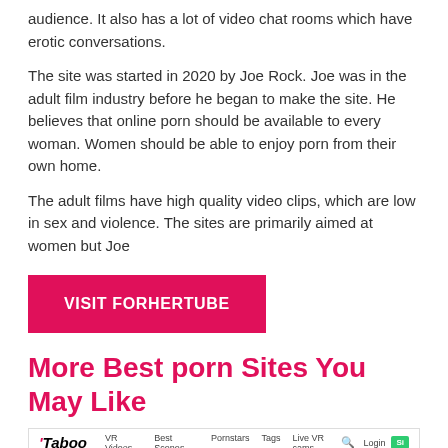audience. It also has a lot of video chat rooms which have erotic conversations.
The site was started in 2020 by Joe Rock. Joe was in the adult film industry before he began to make the site. He believes that online porn should be available to every woman. Women should be able to enjoy porn from their own home.
The adult films have high quality video clips, which are low in sex and violence. The sites are primarily aimed at women but Joe
VISIT FORHERTUBE
More Best porn Sites You May Like
[Figure (screenshot): Screenshot of Taboo VR website showing navigation bar with links (VR Videos, Best Scenes, Pornstars, Tags, Live VR cams, Login), pink banner reading '12 SCENES/MONTH! MORE VALUE - SAME PRICE' with JOIN NOW button, and a thumbnail image of a woman with brown hair.]